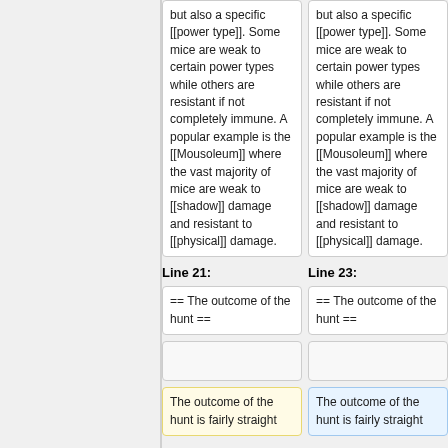but also a specific [[power type]]. Some mice are weak to certain power types while others are resistant if not completely immune. A popular example is the [[Mousoleum]] where the vast majority of mice are weak to [[shadow]] damage and resistant to [[physical]] damage.
but also a specific [[power type]]. Some mice are weak to certain power types while others are resistant if not completely immune. A popular example is the [[Mousoleum]] where the vast majority of mice are weak to [[shadow]] damage and resistant to [[physical]] damage.
Line 21:
Line 23:
== The outcome of the hunt ==
== The outcome of the hunt ==
The outcome of the hunt is fairly straight
The outcome of the hunt is fairly straight